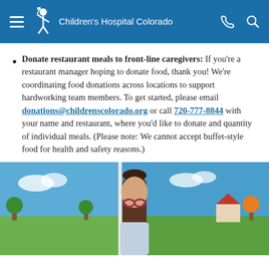Children's Hospital Colorado
Donate restaurant meals to front-line caregivers: If you're a restaurant manager hoping to donate food, thank you! We're coordinating food donations across locations to support hardworking team members. To get started, please email donations@childrenscolorado.org or call 720-777-8844 with your name and restaurant, where you'd like to donate and quantity of individual meals. (Please note: We cannot accept buffet-style food for health and safety reasons.)
[Figure (photo): Young girl with glasses and hair tied up, standing in front of colorful painted murals in a hospital setting.]